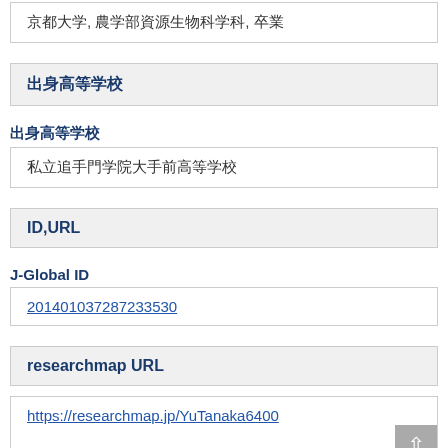京都大学, 農学部資源生物科学科, 卒業
出身高等学校
出身高等学校
私立追手門学院大手前高等学校
ID,URL
J-Global ID
201401037287233530
researchmap URL
https://researchmap.jp/YuTanaka6400